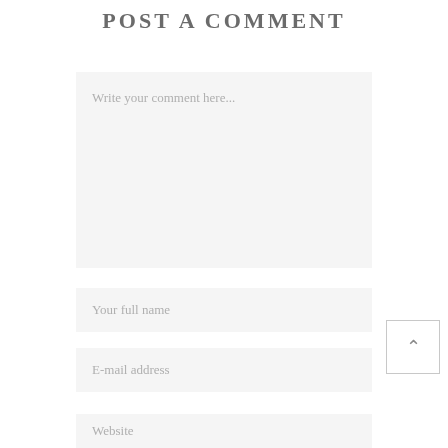POST A COMMENT
[Figure (other): Comment text area input field with placeholder text 'Write your comment here...']
[Figure (other): Full name input field with placeholder text 'Your full name']
[Figure (other): E-mail address input field with placeholder text 'E-mail address']
[Figure (other): Scroll-to-top button with upward chevron arrow]
[Figure (other): Website input field with placeholder text 'Website']